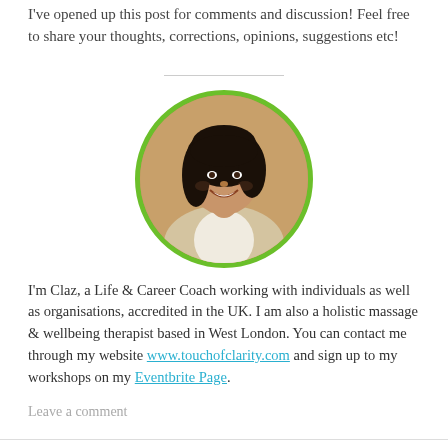I've opened up this post for comments and discussion! Feel free to share your thoughts, corrections, opinions, suggestions etc!
[Figure (photo): Circular portrait photo of Claz, a woman with dark hair, smiling, wearing a beige cardigan, with a green circular border.]
I'm Claz, a Life & Career Coach working with individuals as well as organisations, accredited in the UK. I am also a holistic massage & wellbeing therapist based in West London. You can contact me through my website www.touchofclarity.com and sign up to my workshops on my Eventbrite Page.
Leave a comment